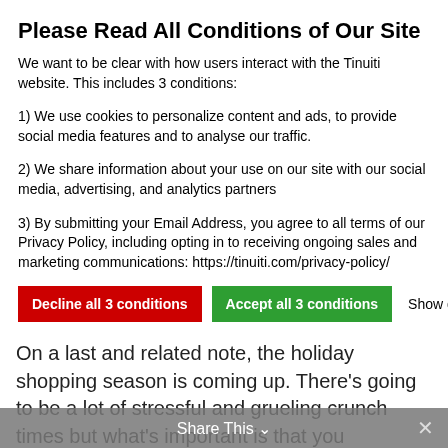Please Read All Conditions of Our Site
We want to be clear with how users interact with the Tinuiti website. This includes 3 conditions:
1) We use cookies to personalize content and ads, to provide social media features and to analyse our traffic.
2) We share information about your use on our site with our social media, advertising, and analytics partners
3) By submitting your Email Address, you agree to all terms of our Privacy Policy, including opting in to receiving ongoing sales and marketing communications: https://tinuiti.com/privacy-policy/
Decline all 3 conditions | Accept all 3 conditions | Show details
On a last and related note, the holiday shopping season is coming up. There's going to be a lot of stressful and grueling crunch times but what's important is that you remember to enjoy it! By investing the hard work and really your whole honest and unbridled self, you're going to kill it.
Share This